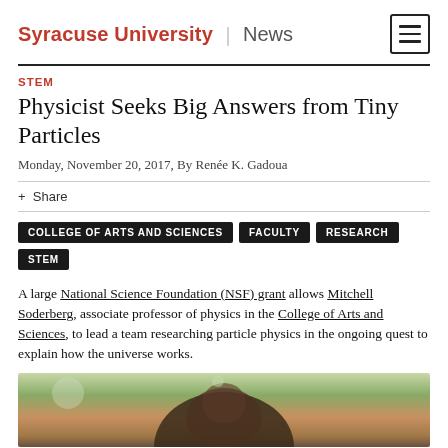Syracuse University | News
STEM
Physicist Seeks Big Answers from Tiny Particles
Monday, November 20, 2017, By Renée K. Gadoua
+ Share
COLLEGE OF ARTS AND SCIENCES
FACULTY
RESEARCH
STEM
A large National Science Foundation (NSF) grant allows Mitchell Soderberg, associate professor of physics in the College of Arts and Sciences, to lead a team researching particle physics in the ongoing quest to explain how the universe works.
[Figure (photo): Photo of Mitchell Soderberg outdoors, partial view showing head and shoulders]